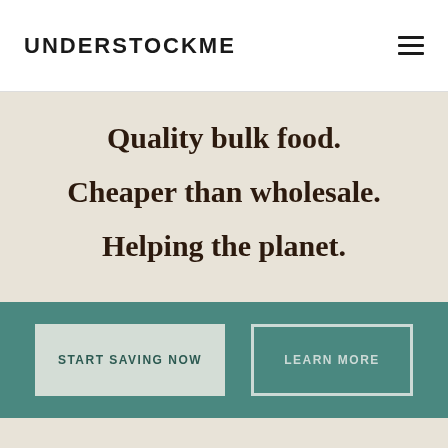UNDERSTOCKME
Quality bulk food.
Cheaper than wholesale.
Helping the planet.
START SAVING NOW
LEARN MORE